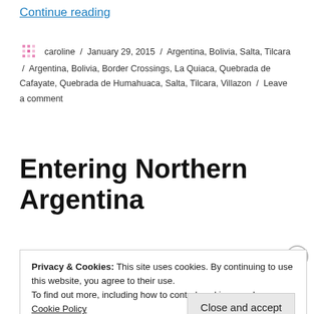Continue reading
caroline / January 29, 2015 / Argentina, Bolivia, Salta, Tilcara / Argentina, Bolivia, Border Crossings, La Quiaca, Quebrada de Cafayate, Quebrada de Humahuaca, Salta, Tilcara, Villazon / Leave a comment
Entering Northern Argentina
Privacy & Cookies: This site uses cookies. By continuing to use this website, you agree to their use. To find out more, including how to control cookies, see here: Cookie Policy
Close and accept